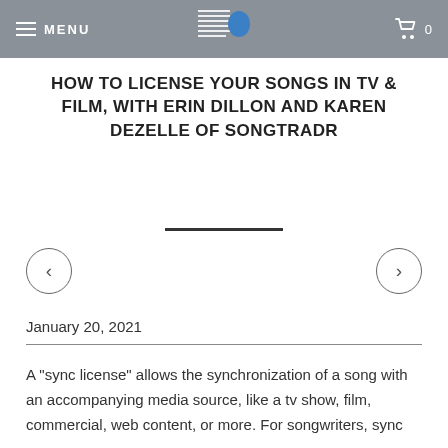MENU | [logo] | 0
HOW TO LICENSE YOUR SONGS IN TV & FILM, WITH ERIN DILLON AND KAREN DEZELLE OF SONGTRADR
January 20, 2021
A "sync license" allows the synchronization of a song with an accompanying media source, like a tv show, film, commercial, web content, or more. For songwriters, sync